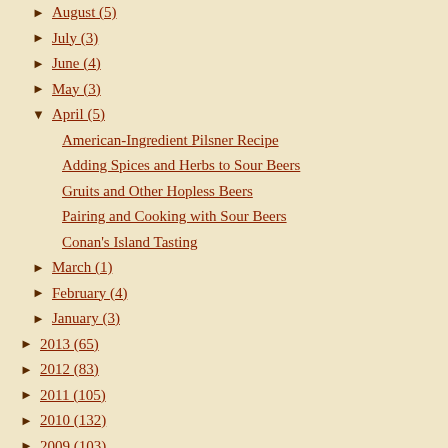▶ August (5)
▶ July (3)
▶ June (4)
▶ May (3)
▼ April (5)
American-Ingredient Pilsner Recipe
Adding Spices and Herbs to Sour Beers
Gruits and Other Hopless Beers
Pairing and Cooking with Sour Beers
Conan's Island Tasting
▶ March (1)
▶ February (4)
▶ January (3)
▶ 2013 (65)
▶ 2012 (83)
▶ 2011 (105)
▶ 2010 (132)
▶ 2009 (103)
▶ 2008 (85)
▶ 2007 (71)
About Me
WASHINGTON, DC, UNITED STATES